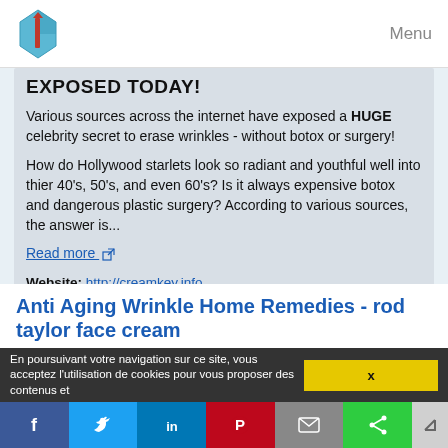Menu
EXPOSED TODAY!
Various sources across the internet have exposed a HUGE celebrity secret to erase wrinkles - without botox or surgery!
How do Hollywood starlets look so radiant and youthful well into thier 40's, 50's, and even 60's? Is it always expensive botox and dangerous plastic surgery? According to various sources, the answer is...
Read more
Website: http://creamkey.info
Related topics : hyaluronic acid anti aging cream / anti aging hand cream wrinkles / anti aging hand cream products / anti aging wrinkle cream ingredients / anti aging wrinkle cream reviews
Anti Aging Wrinkle Home Remedies - rod taylor face cream
En poursuivant votre navigation sur ce site, vous acceptez l'utilisation de cookies pour vous proposer des contenus et...